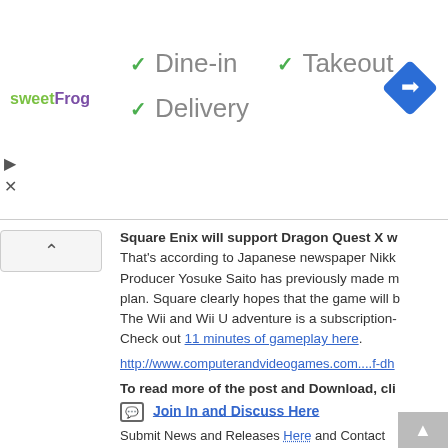[Figure (screenshot): Ad banner for sweetFrog with checkmarks for Dine-in, Takeout, Delivery and a navigation arrow icon]
Square Enix will support Dragon Quest X w... That's according to Japanese newspaper Nikk... Producer Yosuke Saito has previously made m... plan. Square clearly hopes that the game will b... The Wii and Wii U adventure is a subscription-... Check out 11 minutes of gameplay here.
http://www.computerandvideogames.com....f-dh
To read more of the post and Download, cli...
Join In and Discuss Here
Submit News and Releases Here and Contact
Mega Man 2 heading to 3D
August 5th, 2012, 21:09 Posted By: wraggster
Mega Man 2 is coming to the Japanese 3DS Considered by many to be the best and most i... over its appearance on Gamesmaster ea... appearance in Western regions, but...